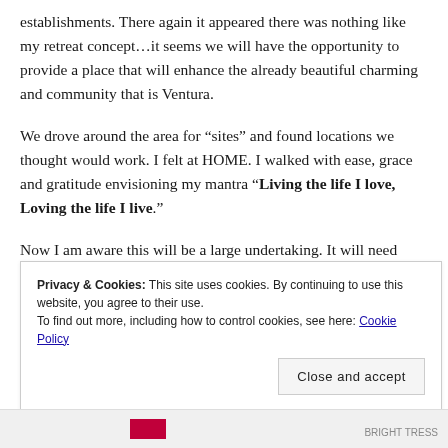establishments. There again it appeared there was nothing like my retreat concept...it seems we will have the opportunity to provide a place that will enhance the already beautiful charming and community that is Ventura.
We drove around the area for “sites” and found locations we thought would work. I felt at HOME. I walked with ease, grace and gratitude envisioning my mantra “Living the life I love, Loving the life I live.”
Now I am aware this will be a large undertaking. It will need much planning and organization. There will be things
Privacy & Cookies: This site uses cookies. By continuing to use this website, you agree to their use. To find out more, including how to control cookies, see here: Cookie Policy
Close and accept